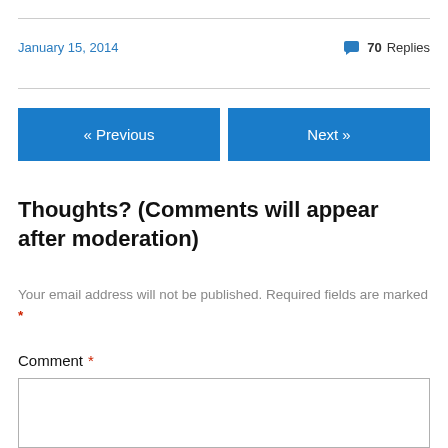January 15, 2014
70 Replies
« Previous
Next »
Thoughts? (Comments will appear after moderation)
Your email address will not be published. Required fields are marked *
Comment *